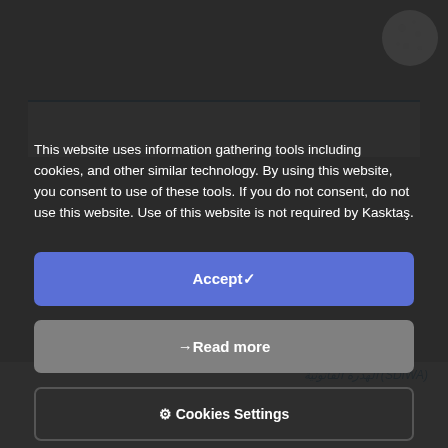[Figure (screenshot): Cookie consent modal overlay on a website. Dark semi-transparent background with a cookie consent dialog containing explanatory text, an Accept button (blue), a Read more button (gray), and a Cookies Settings button (outlined). Behind the modal, a partially visible webpage with a blue top border bar and Arabic text at the bottom.]
This website uses information gathering tools including cookies, and other similar technology. By using this website, you consent to use of these tools. If you do not consent, do not use this website. Use of this website is not required by Kasktaş.
Accept✓
→Read more
⚙ Cookies Settings